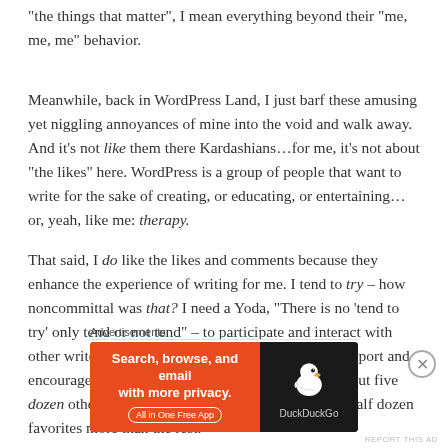“the things that matter”, I mean everything beyond their “me, me, me” behavior.
Meanwhile, back in WordPress Land, I just barf these amusing yet niggling annoyances of mine into the void and walk away. And it’s not like them there Kardashians…for me, it’s not about “the likes” here. WordPress is a group of people that want to write for the sake of creating, or educating, or entertaining…or, yeah, like me: therapy.
That said, I do like the likes and comments because they enhance the experience of writing for me. I tend to try – how noncommittal was that? I need a Yoda, “There is no ‘tend to try’ only tend or not tend” – to participate and interact with other writers that I follow to show them the same support and encouragement they show me. But since I follow about five dozen other writers, I often get behind and visit my half dozen favorites more than the rest.
Advertisements
[Figure (infographic): DuckDuckGo advertisement banner: orange left half with text 'Search, browse, and email with more privacy. All in One Free App', dark right half with DuckDuckGo duck logo and brand name.]